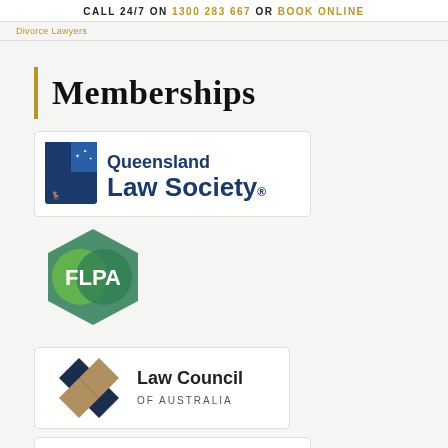CALL 24/7 ON 1300 283 667 OR BOOK ONLINE
Divorce Lawyers
Memberships
[Figure (logo): Queensland Law Society logo with shield emblem and text]
[Figure (logo): FLPA hexagon logo in green]
[Figure (logo): Law Council of Australia logo with diamond chevron icon]
[Figure (logo): IACP International Academy of Collaborative Professionals logo]